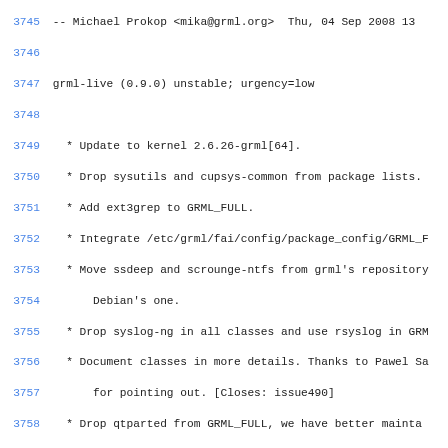3745  -- Michael Prokop <mika@grml.org>  Thu, 04 Sep 2008 13
3746
3747  grml-live (0.9.0) unstable; urgency=low
3748
3749    * Update to kernel 2.6.26-grml[64].
3750    * Drop sysutils and cupsys-common from package lists.
3751    * Add ext3grep to GRML_FULL.
3752    * Integrate /etc/grml/fai/config/package_config/GRML_F
3753    * Move ssdeep and scrounge-ntfs from grml's repository
3754        Debian's one.
3755    * Drop syslog-ng in all classes and use rsyslog in GRM
3756    * Document classes in more details. Thanks to Pawel Sa
3757        for pointing out. [Closes: issue490]
3758    * Drop qtparted from GRML_FULL, we have better mainta
3759        gparted now.
3760    * Get rid of /etc/grml/fai/config/class/GRML_FULL.var,
3761        /etc/grml/fai/config/class/GRML_MEDIUM.var,
3762        /etc/grml/fai/config/class/GRML_POWERPC.var and
3763        /etc/grml/fai/config/class/GRML_SMALL.var - we manag
3764        configuration through GRMLBASE.var and this way it's
3765        easier to adjust settings according to your needs.
3766    * Improve error handling in grml-live, including a che
3767        for pipestatus of fai command.
3768    * Output grml version in grml's live-initramfs script
3769        Thanks for the idea, Marc Haber. [Closes: issue488]
3770    * Drop glimpse from GRML_FULL due to license problems.
3771    * Display SQUASHFS_OPTIONS in configuration overview